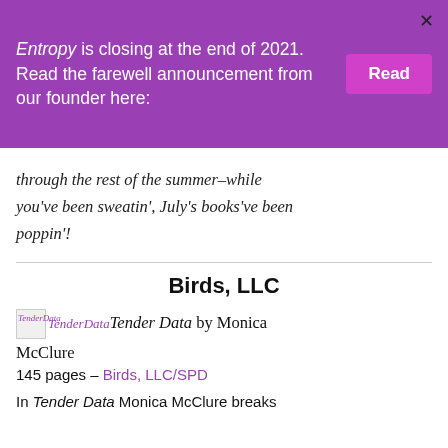Entropy is closing at the end of 2021. Read the farewell announcement from our founder here: [Read]
through the rest of the summer–while you've been sweatin', July's books've been poppin'!
Birds, LLC
Tender Data by Monica McClure
145 pages – Birds, LLC/SPD
In Tender Data Monica McClure breaks